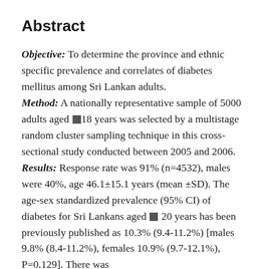Abstract
Objective: To determine the province and ethnic specific prevalence and correlates of diabetes mellitus among Sri Lankan adults. Method: A nationally representative sample of 5000 adults aged ≥18 years was selected by a multistage random cluster sampling technique in this cross-sectional study conducted between 2005 and 2006. Results: Response rate was 91% (n=4532), males were 40%, age 46.1±15.1 years (mean ±SD). The age-sex standardized prevalence (95% CI) of diabetes for Sri Lankans aged ≥ 20 years has been previously published as 10.3% (9.4-11.2%) [males 9.8% (8.4-11.2%), females 10.9% (9.7-12.1%), P=0.129]. There was